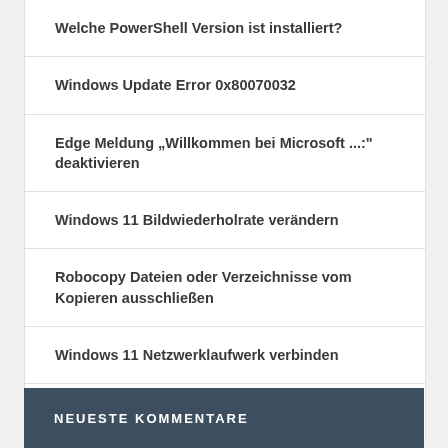Welche PowerShell Version ist installiert?
Windows Update Error 0x80070032
Edge Meldung „Willkommen bei Microsoft ...:“ deaktivieren
Windows 11 Bildwiederholrate verändern
Robocopy Dateien oder Verzeichnisse vom Kopieren ausschließen
Windows 11 Netzwerklaufwerk verbinden
Windows Update Fehler 0x80242FFF
NEUESTE KOMMENTARE